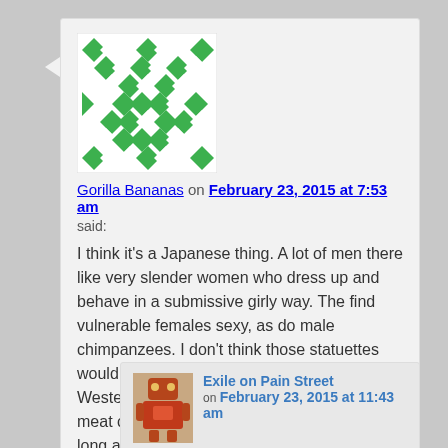[Figure (illustration): Green and white geometric pattern avatar (Gravatar-style checkerboard with diamond shapes)]
Gorilla Bananas on February 23, 2015 at 7:53 am
said:
I think it's a Japanese thing. A lot of men there like very slender women who dress up and behave in a submissive girly way. The find vulnerable females sexy, as do male chimpanzees. I don't think those statuettes would look like underage girls in Japan, but Western women normally have a lot more meat on them. So it's okay to admire them as long as you think they're Japanese!
Reply ↓
[Figure (illustration): Small robot/toy figure avatar in brown/red tones]
Exile on Pain Street on February 23, 2015 at 11:43 am